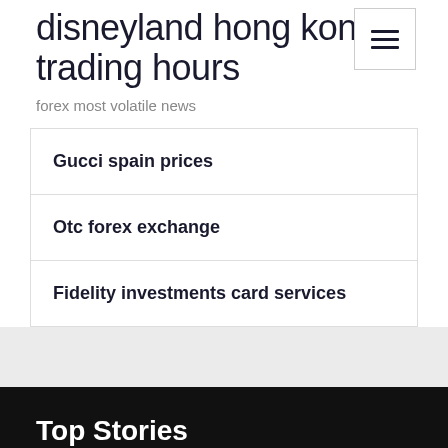disneyland hong kong trading hours
forex most volatile news
Gucci spain prices
Otc forex exchange
Fidelity investments card services
Top Stories